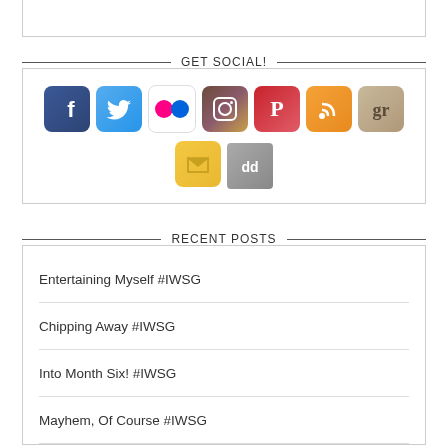GET SOCIAL!
[Figure (illustration): Row of social media icons: Facebook, Twitter, Flickr, Instagram, Pinterest, RSS, Goodreads, a gold/envelope icon, and a dark designer/deviantart icon below]
RECENT POSTS
Entertaining Myself #IWSG
Chipping Away #IWSG
Into Month Six! #IWSG
Mayhem, Of Course #IWSG